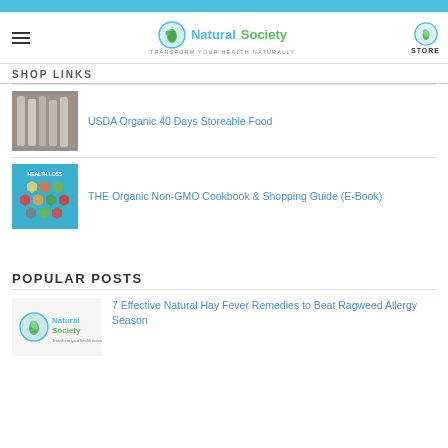Natural Society — Transform your health naturally | STORE
SHOP LINKS
USDA Organic 40 Days Storeable Food
THE Organic Non-GMO Cookbook & Shopping Guide (E-Book)
POPULAR POSTS
7 Effective Natural Hay Fever Remedies to Beat Ragweed Allergy Season